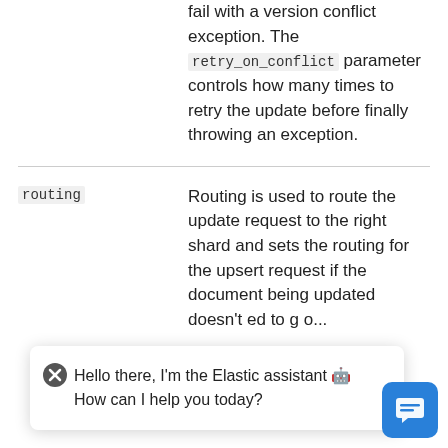fail with a version conflict exception. The retry_on_conflict parameter controls how many times to retry the update before finally throwing an exception.
routing — Routing is used to route the update request to the right shard and sets the routing for the upsert request if the document being updated doesn't exist, to route the indexing of the new document.
Hello there, I'm the Elastic assistant 🤖 How can I help you today?